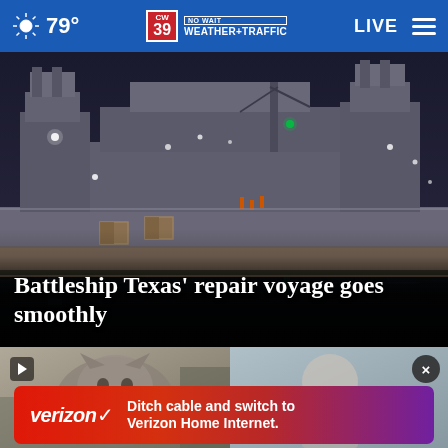79° CW39 NO WAIT WEATHER+TRAFFIC LIVE
[Figure (photo): Night photograph of the Battleship Texas seen from the water, large gray battleship hull with rust stains, superstructure with gun turrets and cranes visible, lit by artificial lights at night]
Battleship Texas' repair voyage goes smoothly
[Figure (photo): Thumbnail with play button showing a fluffy cat or animal face in outdoor setting]
[Figure (photo): Thumbnail showing a blurred person with a close button (x) overlay]
[Figure (other): Verizon advertisement banner: Ditch cable and switch to Verizon Home Internet.]